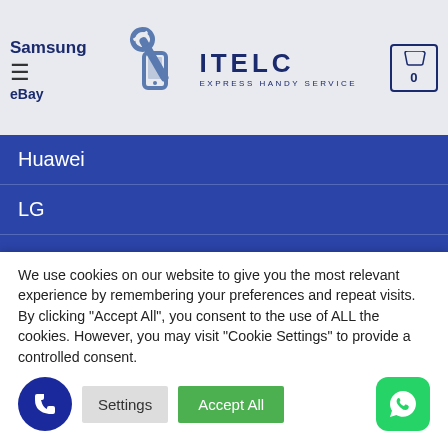[Figure (screenshot): ITELC Express Handy Service website header with logo, hamburger menu, Samsung text, eBay text, and cart icon showing 0]
Huawei
LG
RABATTE
[Figure (photo): Product thumbnail image of a powerbank device]
PREMIUM POWERBANK
We use cookies on our website to give you the most relevant experience by remembering your preferences and repeat visits. By clicking "Accept All", you consent to the use of ALL the cookies. However, you may visit "Cookie Settings" to provide a controlled consent.
Settings | Accept All